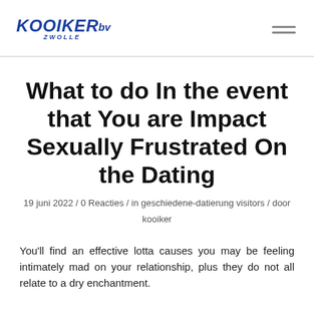KOOIKER bv ZWOLLE
What to do In the event that You are Impact Sexually Frustrated On the Dating
19 juni 2022 / 0 Reacties / in geschiedene-datierung visitors / door kooiker
You'll find an effective lotta causes you may be feeling intimately mad on your relationship, plus they do not all relate to a dry enchantment.